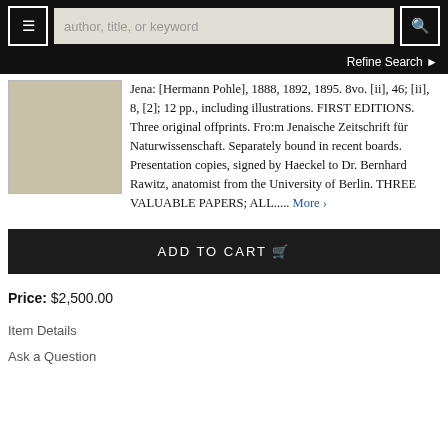author, title, or keyword
Refine Search
[Figure (photo): Beige/tan book cover image]
Jena: [Hermann Pohle], 1888, 1892, 1895. 8vo. [ii], 46; [ii], 8, [2]; 12 pp., including illustrations. FIRST EDITIONS. Three original offprints. Fro:m Jenaische Zeitschrift für Naturwissenschaft. Separately bound in recent boards. Presentation copies, signed by Haeckel to Dr. Bernhard Rawitz, anatomist from the University of Berlin. THREE VALUABLE PAPERS; ALL..... More ›
ADD TO CART
Price: $2,500.00
Item Details
Ask a Question